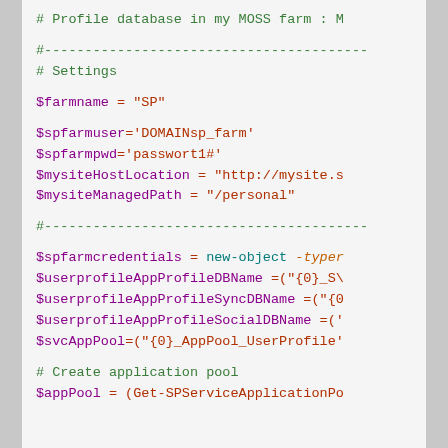# Profile database in my MOSS farm : M
#----------------------------------------
# Settings
$farmname = "SP"
$spfarmuser='DOMAINsp_farm'
$spfarmpwd='passwort1#'
$mysiteHostLocation = "http://mysite.s
$mysiteManagedPath = "/personal"
#----------------------------------------
$spfarmcredentials = new-object -typer
$userprofileAppProfileDBName ="{0}_S\
$userprofileAppProfileSyncDBName ="{0
$userprofileAppProfileSocialDBName =('
$svcAppPool=("{0}_AppPool_UserProfile'
# Create application pool
$appPool = (Get-SPServiceApplicationPo